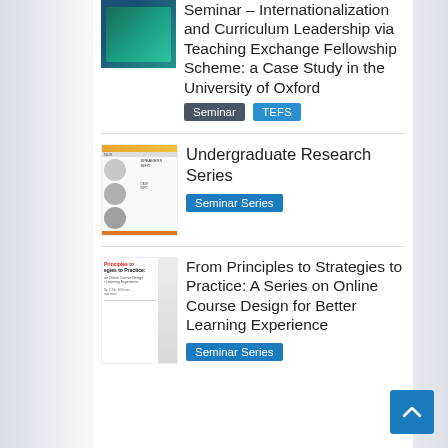[Figure (illustration): Thumbnail image for seminar about Internationalization and Curriculum Leadership via Teaching Exchange Fellowship Scheme at University of Oxford – green/teal colored cover]
Seminar – Internationalization and Curriculum Leadership via Teaching Exchange Fellowship Scheme: a Case Study in the University of Oxford
Seminar
TEFS
[Figure (illustration): Thumbnail image for Undergraduate Research Series – orange and white poster with speaker photos]
Undergraduate Research Series
Seminar Series
[Figure (illustration): Thumbnail image for From Principles to Strategies to Practice – book/poster cover with red and bold text]
From Principles to Strategies to Practice: A Series on Online Course Design for Better Learning Experience
Seminar Series